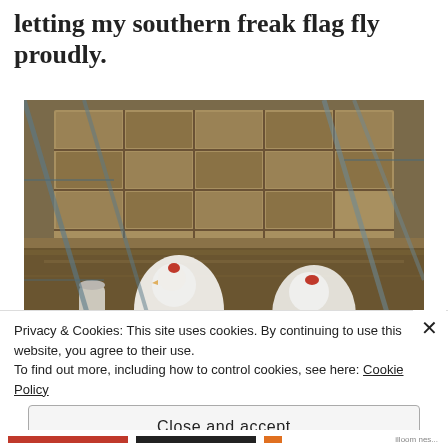letting my southern freak flag fly proudly.
[Figure (photo): Photograph of white chickens inside a wooden chicken coop with nesting boxes, viewed through wire fencing. A red poultry feeder and a white water jug are visible on the straw-covered floor.]
Privacy & Cookies: This site uses cookies. By continuing to use this website, you agree to their use.
To find out more, including how to control cookies, see here: Cookie Policy
Close and accept